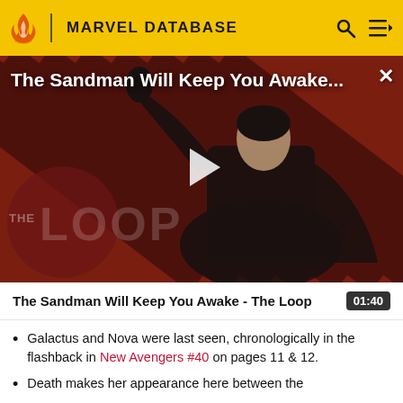MARVEL DATABASE
[Figure (screenshot): Video thumbnail for 'The Sandman Will Keep You Awake - The Loop' showing a dark figure in black against a diagonal striped red/dark background with a play button and The Loop watermark]
The Sandman Will Keep You Awake - The Loop  01:40
Galactus and Nova were last seen, chronologically in the flashback in New Avengers #40 on pages 11 & 12.
Death makes her appearance here between the